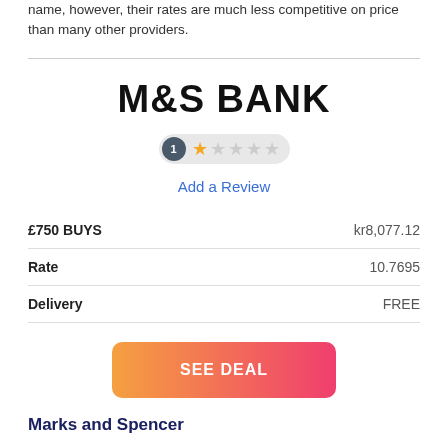name, however, their rates are much less competitive on price than many other providers.
[Figure (logo): M&S BANK logo in large bold black text]
[Figure (other): Star rating widget: 1 review badge, 1 filled star and 4 empty stars on grey pill background]
Add a Review
| £750 BUYS | kr8,077.12 |
| Rate | 10.7695 |
| Delivery | FREE |
SEE DEAL
Marks and Spencer